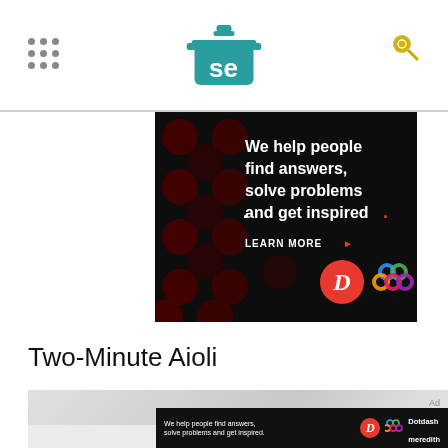Serious Eats header with logo and navigation
[Figure (screenshot): Advertisement banner: dark background with red dots pattern, white bold text reading 'We help people find answers, solve problems and get inspired.' with LEARN MORE call to action, Dotdash D logo and Meredith logo]
Two-Minute Aioli
[Figure (screenshot): Partial image of food/aioli content with bottom ad banner showing Dotdash Meredith branding]
Ad